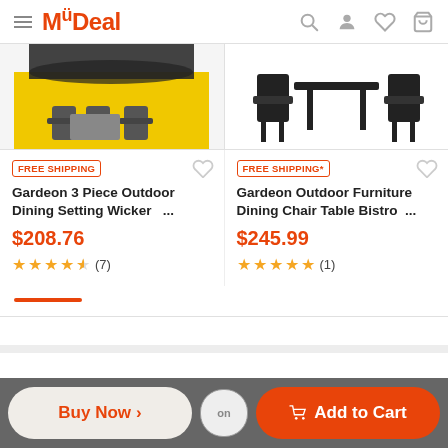MyDeal
[Figure (photo): Product image of Gardeon 3 Piece Outdoor Dining Setting Wicker with yellow background showing wicker furniture set]
[Figure (photo): Product image of Gardeon Outdoor Furniture Dining Chair Table Bistro showing black chair and table silhouette]
FREE SHIPPING
Gardeon 3 Piece Outdoor Dining Setting Wicker ...
$208.76
★★★★½ (7)
FREE SHIPPING*
Gardeon Outdoor Furniture Dining Chair Table Bistro ...
$245.99
★★★★★ (1)